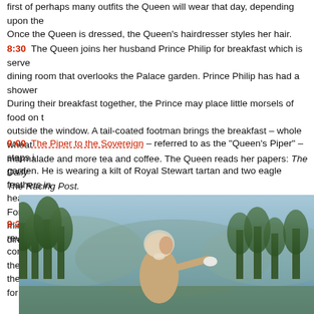first of perhaps many outfits the Queen will wear that day, depending upon the... Once the Queen is dressed, the Queen's hairdresser styles her hair.
8:30  The Queen joins her husband Prince Philip for breakfast which is served... dining room that overlooks the Palace garden. Prince Philip has had a shower... During their breakfast together, the Prince may place little morsels of food on t... outside the window. A tail-coated footman brings the breakfast – whole wheat... marmalade and more tea and coffee. The Queen reads her papers: The Daily... The Racing Post.
9:00  The Piper to the Sovereign – referred to as the "Queen's Piper" – steps i... garden. He is wearing a kilt of Royal Stewart tartan and two eagle feathers in... headwear.  The Queen and Prince Philip listen as he tunes his bagpipes. For t... minutes, the Queen's Piper plays a selection of bagpipe tunes below the dinin...
9:30  The Queen is seated at her Chippendale desk in her office to begin revie... correspondence. A footman comes in with her corgis, who have just had their... the garden. She works all morning. After lunch, she may take the dogs for a w...
[Figure (photo): A woman wearing a floral headscarf tied under the chin, a light-colored coat, pointing at something off-frame. Background shows trees and a landscape.]